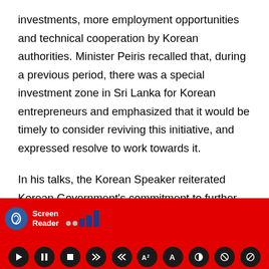investments, more employment opportunities and technical cooperation by Korean authorities. Minister Peiris recalled that, during a previous period, there was a special investment zone in Sri Lanka for Korean entrepreneurs and emphasized that it would be timely to consider reviving this initiative, and expressed resolve to work towards it.
In his talks, the Korean Speaker reiterated Korean Government's commitment to further deepen already buoyant bilateral relations between the two countries. He underscored the stratagem of the Korean transformation from one of the poorest country into an economic giant in the region in the span of a century, and, in this context, mentioned Sri Lanka too can adopt the growth model of Korea to expand and
[Figure (screenshot): Screen Reader accessibility toolbar with red background, showing ear/hearing icon with 'Screen Reader' label, signal bars indicator, and playback control buttons (play, pause, stop, skip, rewind, font size, text, contrast, mute, settings).]